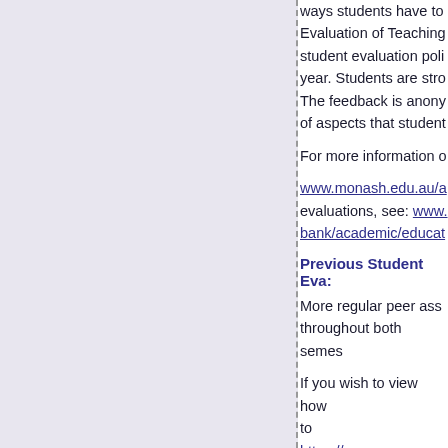[Figure (other): Left panel with light purple/grey background, partially visible, separated by a dashed vertical line]
ways students have to... Evaluation of Teaching... student evaluation poli... year. Students are stro... The feedback is anony... of aspects that student...
For more information o...
www.monash.edu.au/a... evaluations, see: www... bank/academic/educat...
Previous Student Eva...
More regular peer ass... throughout both semes...
If you wish to view how... to https://emuapps.mona...
Academic Overview...
Learning Outcomes